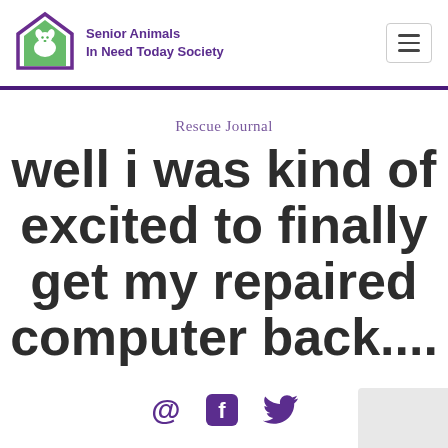[Figure (logo): Senior Animals In Need Today Society logo — house outline in purple with green animal silhouettes inside, with organization name in purple text to the right]
Senior Animals In Need Today Society
Rescue Journal
well i was kind of excited to finally get my repaired computer back....
[Figure (infographic): Three purple social media icons: @ symbol, Facebook logo, Twitter bird logo]